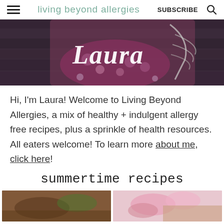living beyond allergies | SUBSCRIBE | [search]
[Figure (photo): Photo of Laura wearing a floral dress with her name in white cursive script overlay, dark wooden background with green foliage]
Hi, I'm Laura! Welcome to Living Beyond Allergies, a mix of healthy + indulgent allergy free recipes, plus a sprinkle of health resources. All eaters welcome! To learn more about me, click here!
summertime recipes
[Figure (photo): Two cropped thumbnail photos at the bottom of the page showing food items]